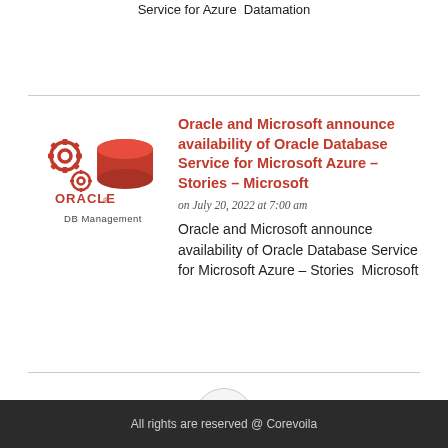Service for Azure  Datamation
[Figure (logo): Oracle DB Management logo — red gear and database cylinder icon above the text ORACLE DB Management]
Oracle and Microsoft announce availability of Oracle Database Service for Microsoft Azure – Stories – Microsoft
on July 20, 2022 at 7:00 am
Oracle and Microsoft announce availability of Oracle Database Service for Microsoft Azure – Stories  Microsoft
All rights are reserved @ Corevoila